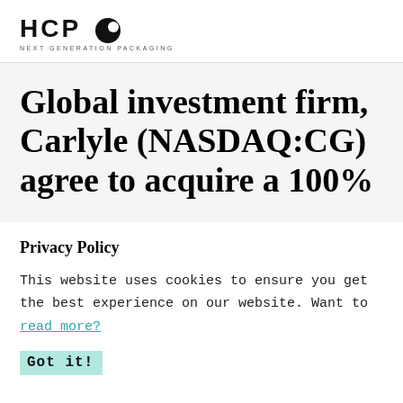[Figure (logo): HCP Next Generation Packaging logo with stylized text HCP and a circular icon]
Global investment firm, Carlyle (NASDAQ:CG) agree to acquire a 100%
Privacy Policy
This website uses cookies to ensure you get the best experience on our website. Want to read more?
Got it!